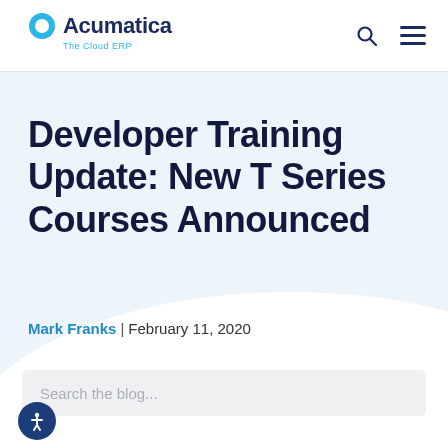Acumatica — The Cloud ERP
Developer Training Update: New T Series Courses Announced
Mark Franks | February 11, 2020
Search the blog...